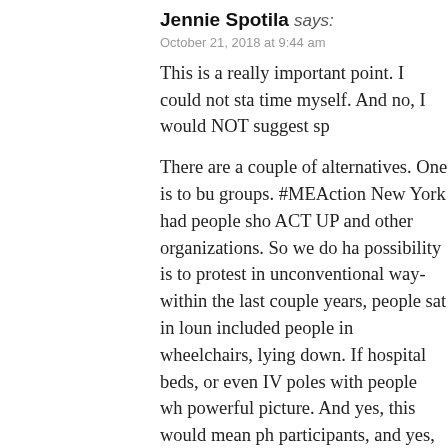Jennie Spotila says:
October 21, 2018 at 9:44 am
This is a really important point. I could not sta- time myself. And no, I would NOT suggest sp-
There are a couple of alternatives. One is to bu- groups. #MEAction New York had people sho- ACT UP and other organizations. So we do ha- possibility is to protest in unconventional way- within the last couple years, people sat in loun- included people in wheelchairs, lying down. If hospital beds, or even IV poles with people wh- powerful picture. And yes, this would mean ph- participants, and yes, many people are too sick
One thing that I have learned very very slowly because they sound hard/impossible. I try to b- lever points are. So while ten years ago I thou-